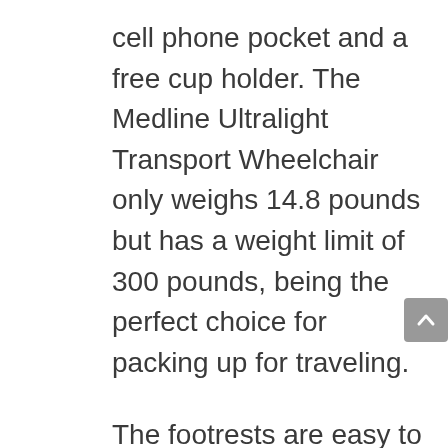cell phone pocket and a free cup holder. The Medline Ultralight Transport Wheelchair only weighs 14.8 pounds but has a weight limit of 300 pounds, being the perfect choice for packing up for traveling.
The footrests are easy to fix thanks to the Stow-N-Go clips and there’s no need to use any tools to put them in place. The padded armrests are extra comfortable and the chair comes with loop-lock handbrakes that are sure to keep you extra comfortable. The Medline